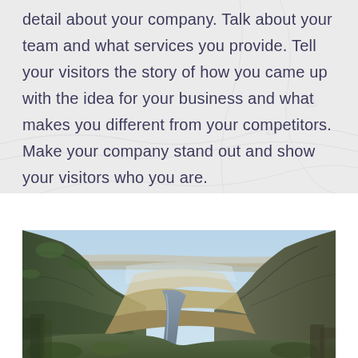detail about your company. Talk about your team and what services you provide. Tell your visitors the story of how you came up with the idea for your business and what makes you different from your competitors. Make your company stand out and show your visitors who you are.
[Figure (photo): Aerial or elevated view of a deep river canyon with steep rocky cliffs, a winding river at the bottom, and arid green-brown landscape extending to the horizon under a light blue sky.]